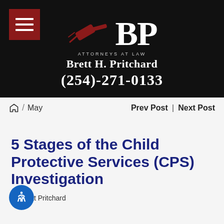[Figure (logo): BP Attorneys at Law logo with gavel, firm name Brett H. Pritchard, and phone number (254)-271-0133 on black background]
🏠 / May   Prev Post | Next Post
5 Stages of the Child Protective Services (CPS) Investigation
By Brett Pritchard